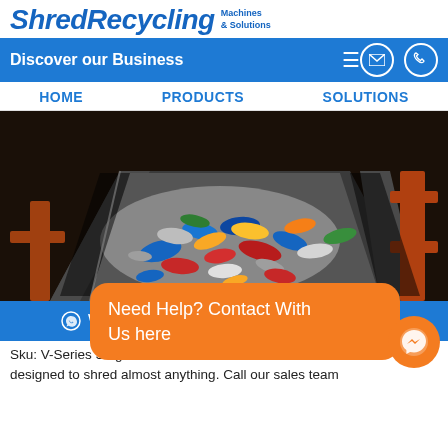[Figure (logo): ShredRecycling Machines & Solutions logo — bold italic blue text]
Discover our Business  ≡
HOME   PRODUCTS   SOLUTIONS
[Figure (photo): Conveyor belt filled with crushed aluminium cans at a recycling facility]
WhatsApp   Email
Need Help? Contact With Us here
Sku: V-Series Single Sh... designed to shred almost anything. Call our sales team